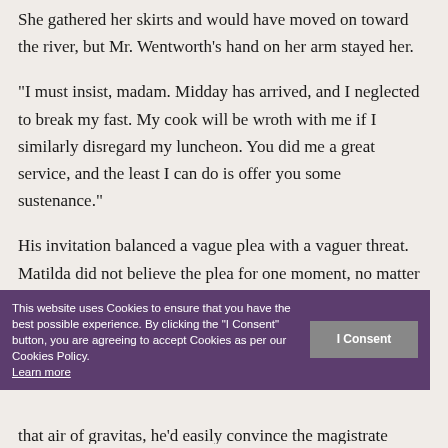She gathered her skirts and would have moved on toward the river, but Mr. Wentworth's hand on her arm stayed her.
“I must insist, madam. Midday has arrived, and I neglected to break my fast. My cook will be wroth with me if I similarly disregard my luncheon. You did me a great service, and the least I can do is offer you some sustenance.”
His invitation balanced a vague plea with a vaguer threat. Matilda did not believe the plea for one moment, no matter the sincerity in his blue eyes.
en he . With
that air of gravitas, he’d easily convince the magistrate
This website uses Cookies to ensure that you have the best possible experience. By clicking the "I Consent" button, you are agreeing to accept Cookies as per our Cookies Policy. Learn more